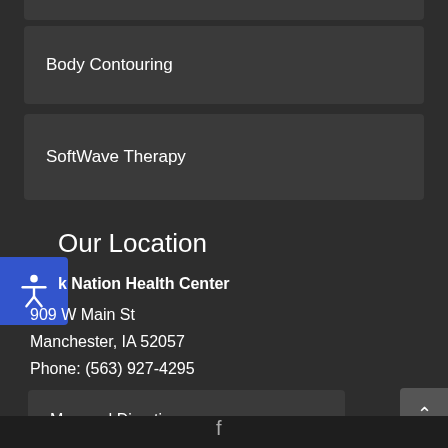Body Contouring
SoftWave Therapy
Our Location
k Nation Health Center
909 W Main St
Manchester, IA 52057
Phone: (563) 927-4295
Map and Directions